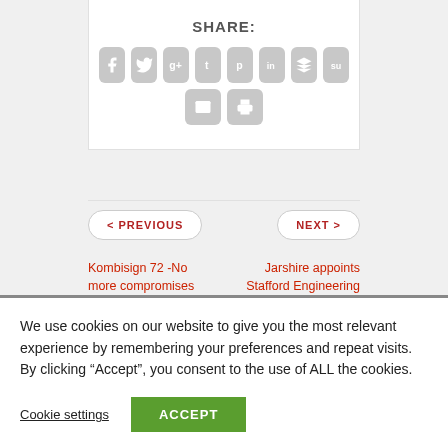SHARE:
[Figure (other): Social sharing icons: Facebook, Twitter, Google+, Tumblr, Pinterest, LinkedIn, Buffer, StumbleUpon, Email, Print]
< PREVIOUS
NEXT >
Kombisign 72 -No more compromises with the new generation of
Jarshire appoints Stafford Engineering Northern Ireland and
We use cookies on our website to give you the most relevant experience by remembering your preferences and repeat visits. By clicking “Accept”, you consent to the use of ALL the cookies.
Cookie settings
ACCEPT